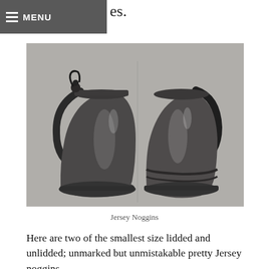MENU es.
[Figure (photo): Two pewter Jersey noggins side by side against a light grey background. The left one has a lid with a decorative thumbpiece and a curved handle. The right one is unlidded with a simple curved handle. Both are small bulbous pewter mugs with flared bases.]
Jersey Noggins
Here are two of the smallest size lidded and unlidded; unmarked but unmistakable pretty Jersey noggins.